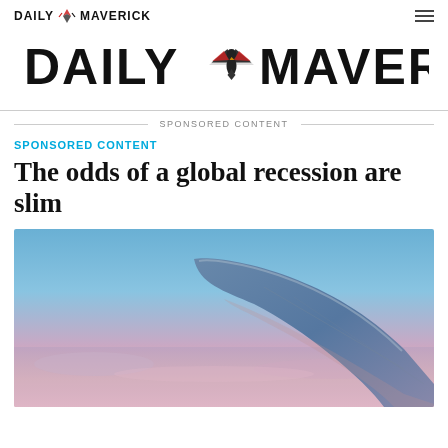DAILY MAVERICK
[Figure (logo): Daily Maverick large masthead logo with eagle graphic]
SPONSORED CONTENT
SPONSORED CONTENT
The odds of a global recession are slim
[Figure (photo): Airplane wing viewed from window at sunset/dusk with blue and pink sky gradient]